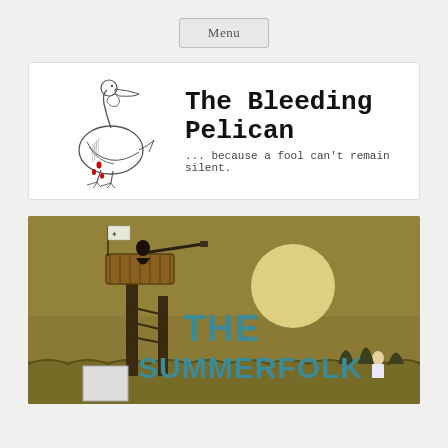Menu
[Figure (logo): The Bleeding Pelican logo — a pen-and-ink drawing of a pelican with red drops of blood, next to the text 'The Bleeding Pelican' and subtitle '... because a fool can't remain silent.']
[Figure (photo): Book cover of 'The Summerfolk' — olive/gold background with silhouette of a figure in a crow's nest lookout tower with a telescope, a moon, a flag, and text 'THE SUMMERFOLK' in teal/blue letters]